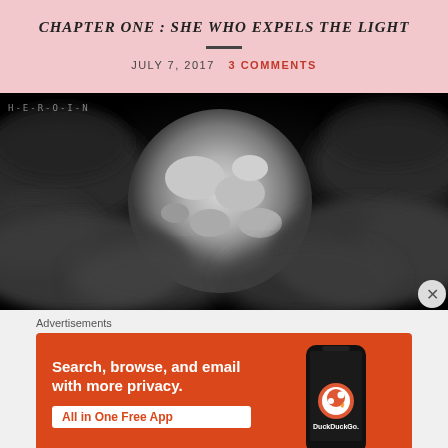CHAPTER ONE : SHE WHO EXPELS THE LIGHT
JULY 7, 2017   3 COMMENTS
[Figure (photo): Black and white image of a large celestial body (moon or planet) partially obscured by dark clouds or smoke, with small text overlay in the top-left corner reading H-E-R-O-I-N]
Advertisements
[Figure (screenshot): DuckDuckGo advertisement on orange background. Text reads: Search, browse, and email with more privacy. All in One Free App. Shows a smartphone with the DuckDuckGo app icon and the DuckDuckGo. logo.]